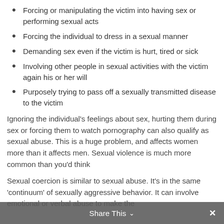Forcing or manipulating the victim into having sex or performing sexual acts
Forcing the individual to dress in a sexual manner
Demanding sex even if the victim is hurt, tired or sick
Involving other people in sexual activities with the victim again his or her will
Purposely trying to pass off a sexually transmitted disease to the victim
Ignoring the individual's feelings about sex, hurting them during sex or forcing them to watch pornography can also qualify as sexual abuse. This is a huge problem, and affects women more than it affects men. Sexual violence is much more common than you'd think
Sexual coercion is similar to sexual abuse. It's in the same 'continuum' of sexually aggressive behavior. It can involve emotional or verbal abuse to make the
Share This